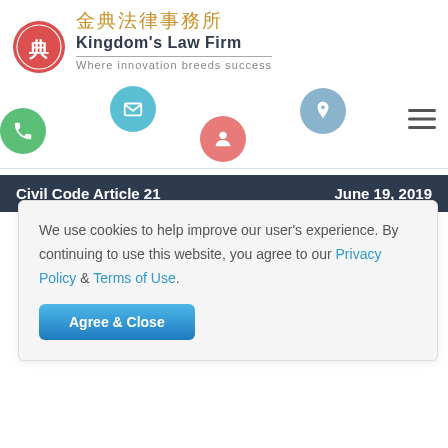[Figure (logo): Kingdom's Law Firm logo with red circular Chinese seal emblem, Chinese text 金典法律事務所, English text Kingdom's Law Firm, tagline Where innovation breeds success]
[Figure (infographic): Navigation icons row: green phone circle, teal mail circle, pink/salmon person circle, blue-grey location pin circle, and hamburger menu icon on right]
Civil Code Article 21    June 19, 2019
We use cookies to help improve our user's experience. By continuing to use this website, you agree to our Privacy Policy & Terms of Use.
Agree & Close